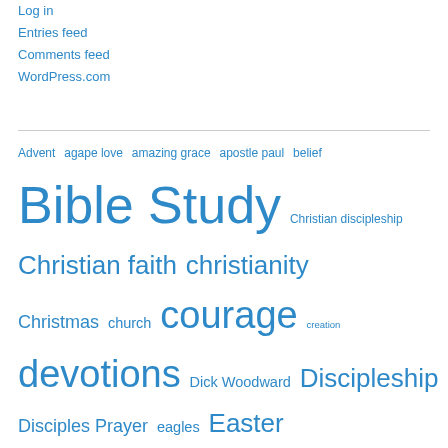Log in
Entries feed
Comments feed
WordPress.com
Advent agape love amazing grace apostle paul belief Bible Study Christian discipleship Christian faith christianity Christmas church courage creation devotions Dick Woodward Discipleship Disciples Prayer eagles Easter encouragement eternal values faith faith & suffering faith and suffering Faithfulness Faith in God following Jesus Following Jesus Christ Forgiveness God's faithfulness God's grace God's love God's mercy God's will Grace gratitude grief Heaven Holy